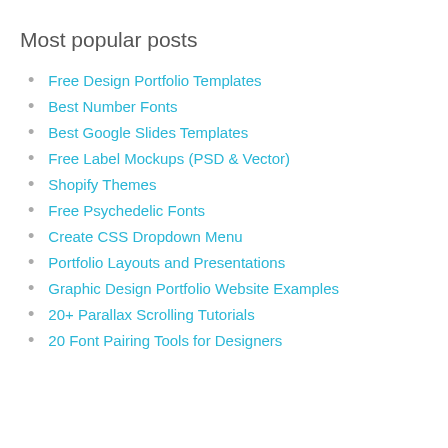Most popular posts
Free Design Portfolio Templates
Best Number Fonts
Best Google Slides Templates
Free Label Mockups (PSD & Vector)
Shopify Themes
Free Psychedelic Fonts
Create CSS Dropdown Menu
Portfolio Layouts and Presentations
Graphic Design Portfolio Website Examples
20+ Parallax Scrolling Tutorials
20 Font Pairing Tools for Designers